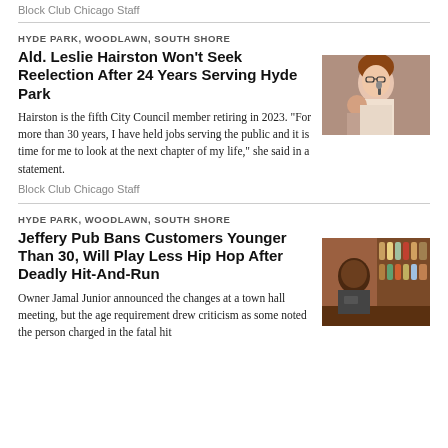Block Club Chicago Staff
HYDE PARK, WOODLAWN, SOUTH SHORE
Ald. Leslie Hairston Won't Seek Reelection After 24 Years Serving Hyde Park
Hairston is the fifth City Council member retiring in 2023. "For more than 30 years, I have held jobs serving the public and it is time for me to look at the next chapter of my life," she said in a statement.
[Figure (photo): Woman with glasses speaking at a microphone, another person visible behind her]
Block Club Chicago Staff
HYDE PARK, WOODLAWN, SOUTH SHORE
Jeffery Pub Bans Customers Younger Than 30, Will Play Less Hip Hop After Deadly Hit-And-Run
Owner Jamal Junior announced the changes at a town hall meeting, but the age requirement drew criticism as some noted the person charged in the fatal hit
[Figure (photo): Man standing at a bar with bottles in the background]